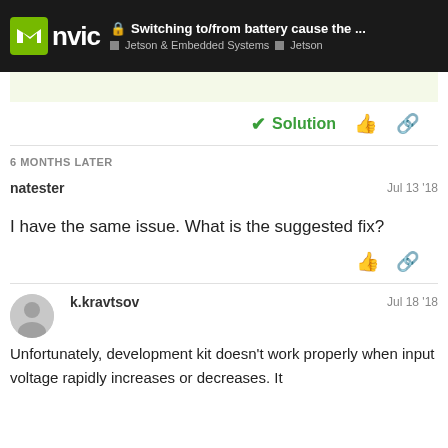Switching to/from battery cause the ... | Jetson & Embedded Systems | Jetson
6 MONTHS LATER
natester  Jul 13 '18
I have the same issue. What is the suggested fix?
k.kravtsov  Jul 18 '18
Unfortunately, development kit doesn't work properly when input voltage rapidly increases or decreases. It